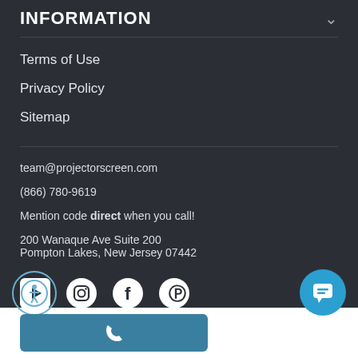INFORMATION
Terms of Use
Privacy Policy
Sitemap
team@projectorscreen.com
(866) 780-9619
Mention code direct when you call!
200 Wanaque Ave Suite 200
Pompton Lakes, New Jersey 07442
[Figure (other): Social media icons row: YouTube, Instagram, Facebook, Pinterest]
[Figure (other): Accessibility button (person icon), Chat button (speech bubble icon), Phone call button at bottom]